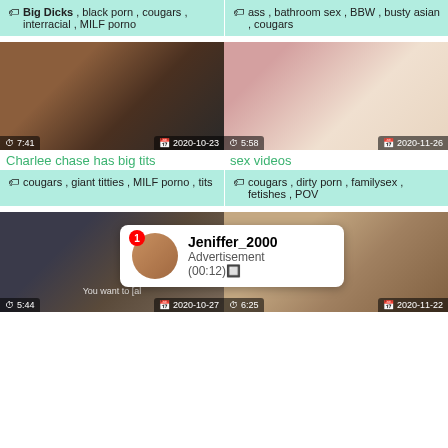porn music video
ass , bathroom sex , BBW , busty asian , cougars
Big Dicks , black porn , cougars , interracial , MILF porno
[Figure (photo): Video thumbnail 1: blonde woman in blue outfit, duration 7:41, date 2020-10-23]
Charlee chase has big tits
cougars , giant titties , MILF porno , tits
[Figure (photo): Video thumbnail 2: close-up, duration 5:58, date 2020-11-26]
sex videos
cougars , dirty porn , familysex , fetishes , POV
[Figure (photo): Video thumbnail 3: duration 5:44, date 2020-10-27]
[Figure (photo): Video thumbnail 4: duration 6:25, date 2020-11-22]
Jeniffer_2000 Advertisement (00:12)🔲